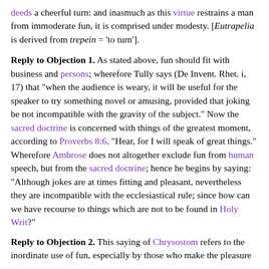deeds a cheerful turn: and inasmuch as this virtue restrains a man from immoderate fun, it is comprised under modesty. [Eutrapelia is derived from trepein = 'to turn'].
Reply to Objection 1. As stated above, fun should fit with business and persons; wherefore Tully says (De Invent. Rhet. i, 17) that "when the audience is weary, it will be useful for the speaker to try something novel or amusing, provided that joking be not incompatible with the gravity of the subject." Now the sacred doctrine is concerned with things of the greatest moment, according to Proverbs 8:6, "Hear, for I will speak of great things." Wherefore Ambrose does not altogether exclude fun from human speech, but from the sacred doctrine; hence he begins by saying: "Although jokes are at times fitting and pleasant, nevertheless they are incompatible with the ecclesiastical rule; since how can we have recourse to things which are not to be found in Holy Writ?"
Reply to Objection 2. This saying of Chrysostom refers to the inordinate use of fun, especially by those who make the pleasure